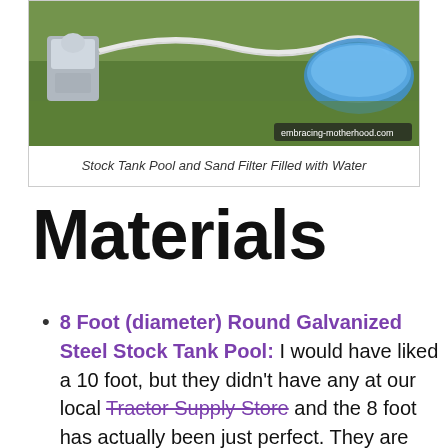[Figure (photo): Photo of a stock tank pool with sand filter pump on grass, with a blue inflatable pool visible in the background. Watermark reads 'embracing-motherhood.com'.]
Stock Tank Pool and Sand Filter Filled with Water
Materials
8 Foot (diameter) Round Galvanized Steel Stock Tank Pool: I would have liked a 10 foot, but they didn't have any at our local Tractor Supply Store and the 8 foot has actually been just perfect. They are typically 2 feet high – which is pretty much shorter than anyone who is really good at walking, so it's safe for toddlers! We bought ours at a local farm store for $350, but if you want to